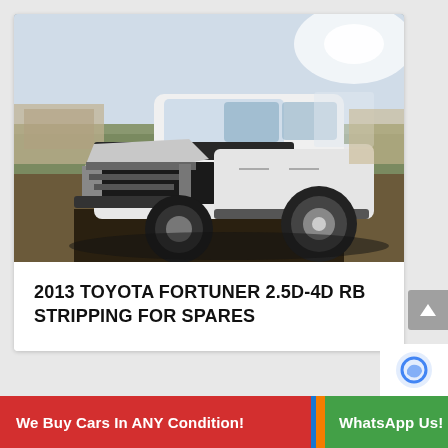[Figure (photo): A white 2013 Toyota Fortuner with severe front-end damage, hood crumpled, front bumper and grille missing, engine bay exposed. The SUV is parked on a dirt/gravel surface outdoors. Background shows other vehicles and open land.]
2013 TOYOTA FORTUNER 2.5D-4D RB STRIPPING FOR SPARES
We Buy Cars In ANY Condition!
WhatsApp Us!